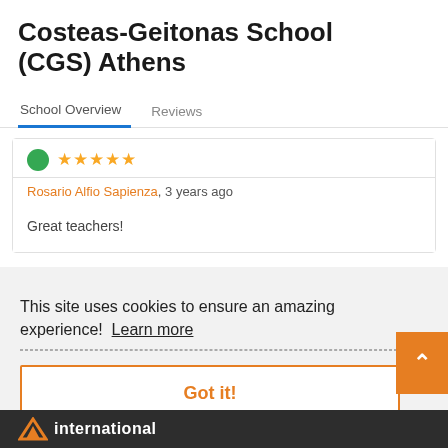Costeas-Geitonas School (CGS) Athens
School Overview   Reviews
Rosario Alfio Sapienza, 3 years ago
Great teachers!
This site uses cookies to ensure an amazing experience!  Learn more
Got it!
international